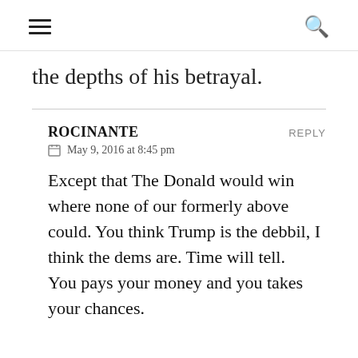≡  🔍
the depths of his betrayal.
ROCINANTE   REPLY
May 9, 2016 at 8:45 pm
Except that The Donald would win where none of our formerly above could. You think Trump is the debbil, I think the dems are. Time will tell. You pays your money and you takes your chances.